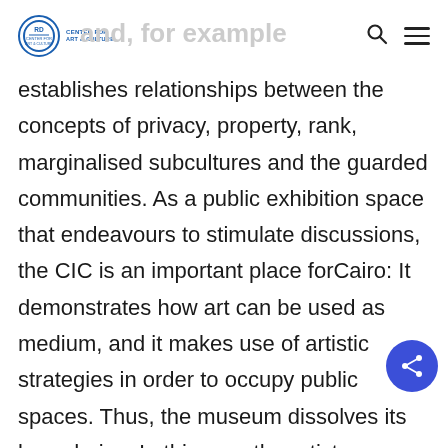and, for example
establishes relationships between the concepts of privacy, property, rank, marginalised subcultures and the guarded communities. As a public exhibition space that endeavours to stimulate discussions, the CIC is an important place forCairo: It demonstrates how art can be used as medium, and it makes use of artistic strategies in order to occupy public spaces. Thus, the museum dissolves its boundaries. In this way, the artists are squatting the field of mediating foreign cultures and, thus,